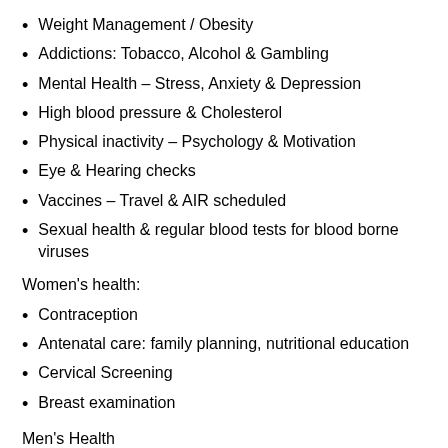Weight Management / Obesity
Addictions: Tobacco, Alcohol & Gambling
Mental Health – Stress, Anxiety & Depression
High blood pressure & Cholesterol
Physical inactivity – Psychology & Motivation
Eye & Hearing checks
Vaccines – Travel & AIR scheduled
Sexual health & regular blood tests for blood borne viruses
Women's health:
Contraception
Antenatal care: family planning, nutritional education
Cervical Screening
Breast examination
Men's Health